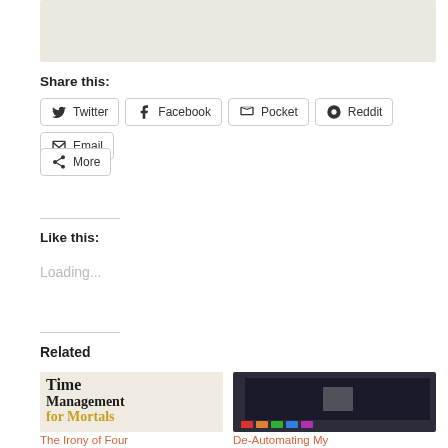[Figure (illustration): Top partial image, beige/tan background]
Share this:
[Figure (infographic): Social share buttons: Twitter, Facebook, Pocket, Reddit, Email]
[Figure (infographic): More button]
Like this:
Loading...
Related
[Figure (photo): Book cover: Time Management for Mortals]
The Irony of Four
[Figure (photo): Book with colorful tabs: De-Automating My]
De-Automating My